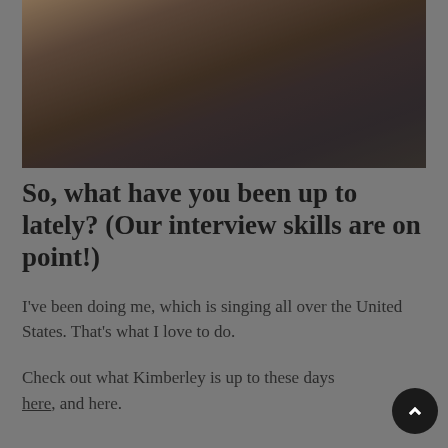[Figure (photo): A couple smiling and embracing. A woman with curly hair wearing a white top leans against a man in a dark grey turtleneck. Background is warm/dark toned.]
So, what have you been up to lately? (Our interview skills are on point!)
I've been doing me, which is singing all over the United States. That's what I love to do.
Check out what Kimberley is up to these days here, and here.